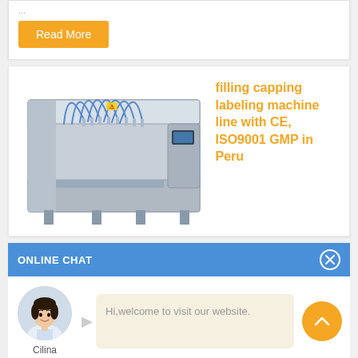...
Read More
[Figure (photo): Industrial filling capping labeling machine line, stainless steel, multiple nozzles]
filling capping labeling machine line with CE, ISO9001 GMP in Peru
ONLINE CHAT
[Figure (photo): Avatar photo of Cilina, a female customer service representative]
Hi,welcome to visit our website.
Cilina